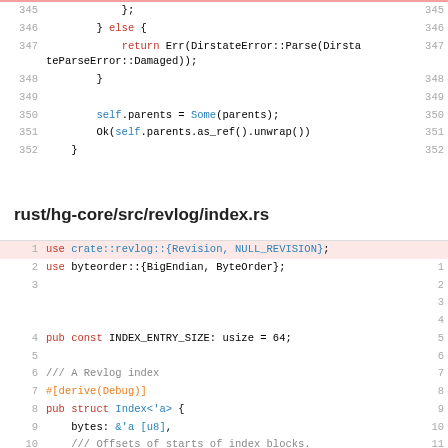[Figure (screenshot): Code block showing lines 345-352 of a Rust source file with syntax highlighting. Line 347 has a return statement with DirstateError::Parse.]
rust/hg-core/src/revlog/index.rs
[Figure (screenshot): Code block showing lines 1-11 of rust/hg-core/src/revlog/index.rs with syntax highlighting. Line 1 is highlighted with use crate::revlog::{Revision, NULL_REVISION};]